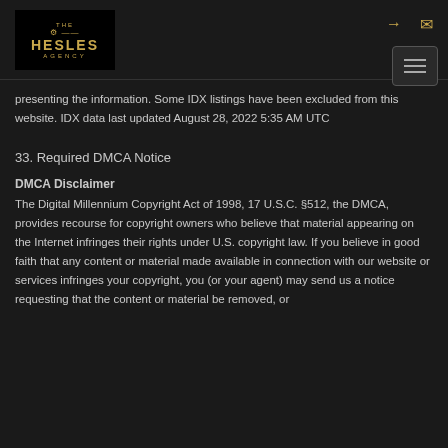[Figure (logo): The Hesles Agency logo — gold key icon and text on black background]
presenting the information. Some IDX listings have been excluded from this website. IDX data last updated August 28, 2022 5:35 AM UTC
33. Required DMCA Notice
DMCA Disclaimer
The Digital Millennium Copyright Act of 1998, 17 U.S.C. §512, the DMCA, provides recourse for copyright owners who believe that material appearing on the Internet infringes their rights under U.S. copyright law. If you believe in good faith that any content or material made available in connection with our website or services infringes your copyright, you (or your agent) may send us a notice requesting that the content or material be removed, or